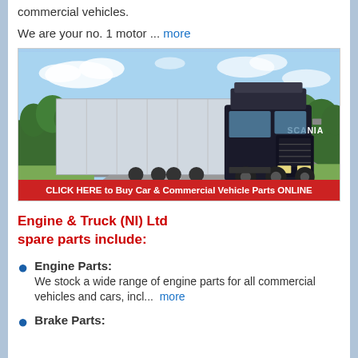commercial vehicles.
We are your no. 1 motor ... more
[Figure (photo): A Scania commercial truck driving on a highway with trees and blue sky in the background. A red banner at the bottom reads: CLICK HERE to Buy Car & Commercial Vehicle Parts ONLINE]
Engine & Truck (NI) Ltd spare parts include:
Engine Parts: We stock a wide range of engine parts for all commercial vehicles and cars, incl... more
Brake Parts: